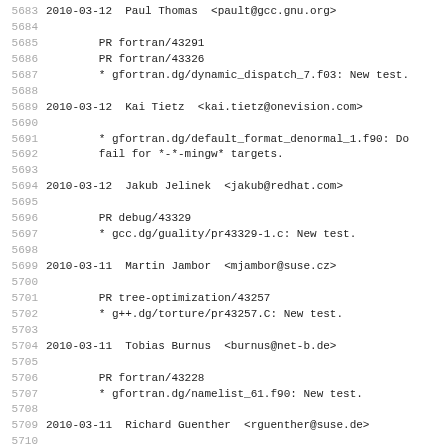5683 2010-03-12  Paul Thomas  <pault@gcc.gnu.org>
5684
5685		PR fortran/43291
5686		PR fortran/43326
5687		* gfortran.dg/dynamic_dispatch_7.f03: New test.
5688
5689 2010-03-12  Kai Tietz  <kai.tietz@onevision.com>
5690
5691		* gfortran.dg/default_format_denormal_1.f90: Do
5692		fail for *-*-mingw* targets.
5693
5694 2010-03-12  Jakub Jelinek  <jakub@redhat.com>
5695
5696		PR debug/43329
5697		* gcc.dg/guality/pr43329-1.c: New test.
5698
5699 2010-03-11  Martin Jambor  <mjambor@suse.cz>
5700
5701		PR tree-optimization/43257
5702		* g++.dg/torture/pr43257.C: New test.
5703
5704 2010-03-11  Tobias Burnus  <burnus@net-b.de>
5705
5706		PR fortran/43228
5707		* gfortran.dg/namelist_61.f90: New test.
5708
5709 2010-03-11  Richard Guenther  <rguenther@suse.de>
5710
5711		PR tree-optimization/43255
5712		* gcc.c-torture/compile/pr43255.c: New testcase
5713
5714 2010-03-11  Andreas Krebbel  <Andreas.Krebbel@de.ibm.cc